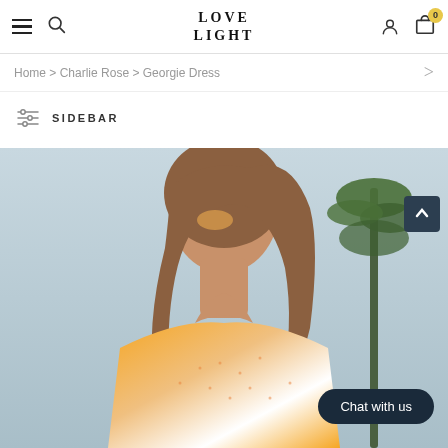LOVE LIGHT — navigation header with hamburger menu, search, logo, user icon, cart (0)
Home > Charlie Rose > Georgie Dress
SIDEBAR
[Figure (photo): Woman wearing an orange and white tie-dye crochet halter dress, looking to the side, with palm trees in the background. Chat with us button overlay at bottom right.]